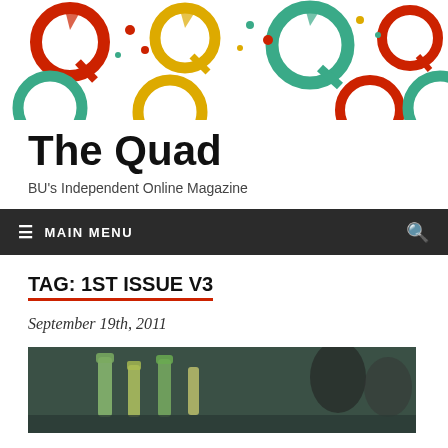[Figure (illustration): The Quad magazine header banner with colorful Q logos in red, yellow, and teal on white background]
The Quad
BU's Independent Online Magazine
≡ MAIN MENU
TAG: 1ST ISSUE V3
September 19th, 2011
[Figure (photo): Photo showing bottles on a table with people in background, partially visible]